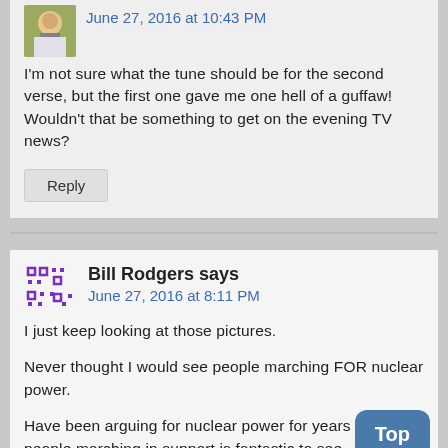June 27, 2016 at 10:43 PM
I'm not sure what the tune should be for the second verse, but the first one gave me one hell of a guffaw!  Wouldn't that be something to get on the evening TV news?
Reply
Bill Rodgers says
June 27, 2016 at 8:11 PM
I just keep looking at those pictures.
Never thought I would see people marching FOR nuclear power.
Have been arguing for nuclear power for years but to people marching in support is fantastic to see.
Top